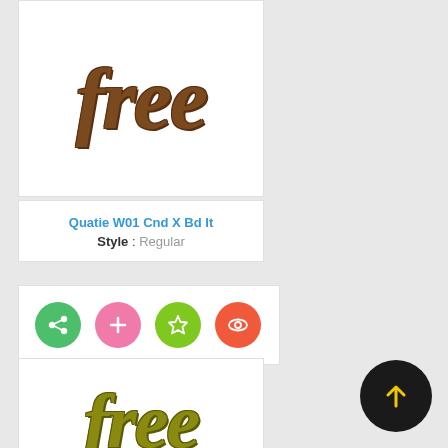[Figure (illustration): Word 'free' in large bold italic brown textured font on white card background]
Quatie W01 Cnd X Bd It
Style : Regular
[Figure (infographic): Four circular action buttons: green share, pink add, green star, red-orange view]
[Figure (illustration): Word 'free' in large bold italic olive/khaki textured font on white card, partially visible]
[Figure (illustration): Dark circular scroll-to-top button with yellow upward arrow]